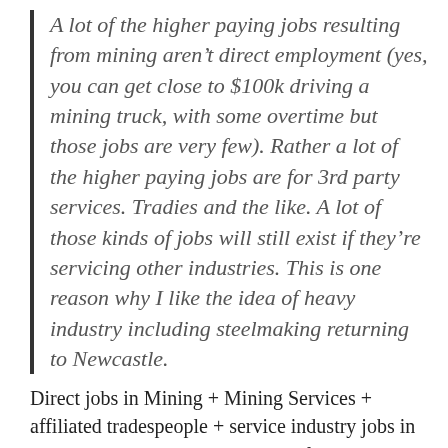A lot of the higher paying jobs resulting from mining aren't direct employment (yes, you can get close to $100k driving a mining truck, with some overtime but those jobs are very few). Rather a lot of the higher paying jobs are for 3rd party services. Tradies and the like. A lot of those kinds of jobs will still exist if they're servicing other industries. This is one reason why I like the idea of heavy industry including steelmaking returning to Newcastle.
Direct jobs in Mining + Mining Services + affiliated tradespeople + service industry jobs in the local area + transport jobs + refining